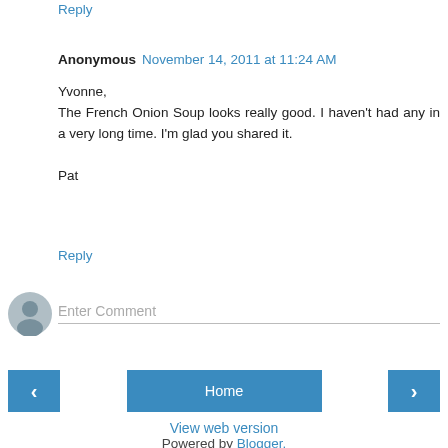Reply
Anonymous  November 14, 2011 at 11:24 AM
Yvonne,
The French Onion Soup looks really good. I haven't had any in a very long time. I'm glad you shared it.

Pat
Reply
Enter Comment
Home
View web version
Powered by Blogger.